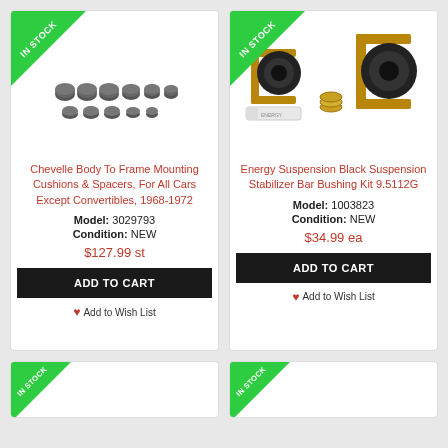[Figure (photo): Product card showing Chevelle Body To Frame Mounting Cushions and Spacers with IN STOCK badge]
[Figure (photo): Product card showing Energy Suspension Black Suspension Stabilizer Bar Bushing Kit 9.5112G with IN STOCK badge]
[Figure (photo): Partial product card at bottom left with IN STOCK badge]
[Figure (photo): Partial product card at bottom right with IN STOCK badge]